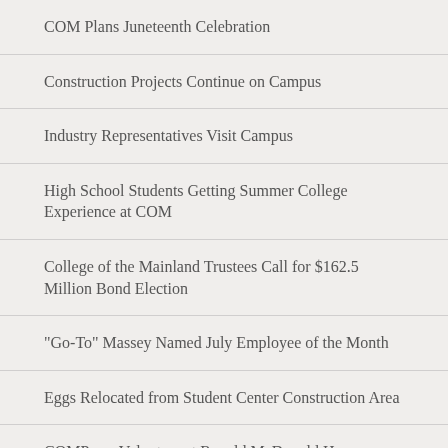COM Plans Juneteenth Celebration
Construction Projects Continue on Campus
Industry Representatives Visit Campus
High School Students Getting Summer College Experience at COM
College of the Mainland Trustees Call for $162.5 Million Bond Election
"Go-To" Massey Named July Employee of the Month
Eggs Relocated from Student Center Construction Area
COMPeers Volunteer at Ronald McDonald House